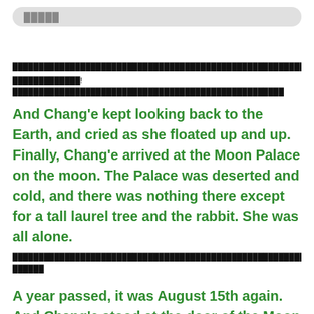█████
████████████████████████████████████████████████████████████████████████████████████████████████████████████████████████████████████████
██████████████!████████████████████████████████████████
And Chang'e kept looking back to the Earth, and cried as she floated up and up. Finally, Chang'e arrived at the Moon Palace on the moon. The Palace was deserted and cold, and there was nothing there except for a tall laurel tree and the rabbit. She was all alone.
████████████████████████████████████████████████████████████████████████████████████████████████ ██████
A year passed, it was August 15th again. And Chang'e stood at the door of the Moon Palace